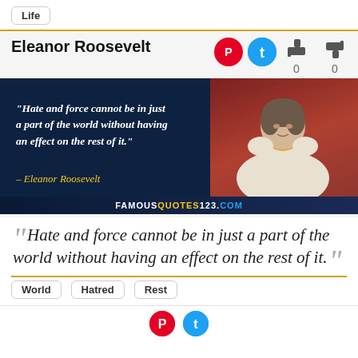Life
Eleanor Roosevelt
[Figure (photo): Quote card showing Eleanor Roosevelt photo with text: "Hate and force cannot be in just a part of the world without having an effect on the rest of it." – Eleanor Roosevelt. Watermark: FAMOUSQUOTES123.COM]
Hate and force cannot be in just a part of the world without having an effect on the rest of it.
World
Hatred
Rest